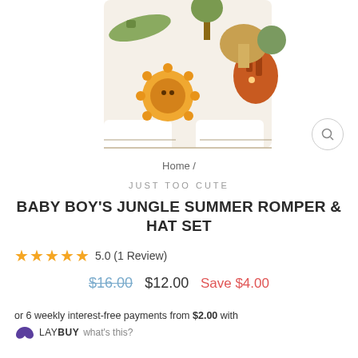[Figure (photo): Baby boy's jungle summer romper laid flat, showing animal print pattern including lion, crocodile, tiger, and giraffe on white fabric. Bottom portion of the romper visible.]
Home /
JUST TOO CUTE
BABY BOY'S JUNGLE SUMMER ROMPER & HAT SET
5.0 (1 Review)
$16.00  $12.00  Save $4.00
or 6 weekly interest-free payments from $2.00 with LAYBUY what's this?